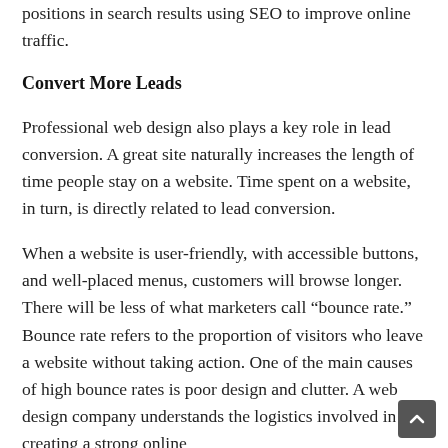positions in search results using SEO to improve online traffic.
Convert More Leads
Professional web design also plays a key role in lead conversion. A great site naturally increases the length of time people stay on a website. Time spent on a website, in turn, is directly related to lead conversion.
When a website is user-friendly, with accessible buttons, and well-placed menus, customers will browse longer. There will be less of what marketers call “bounce rate.” Bounce rate refers to the proportion of visitors who leave a website without taking action. One of the main causes of high bounce rates is poor design and clutter. A web design company understands the logistics involved in creating a strong online